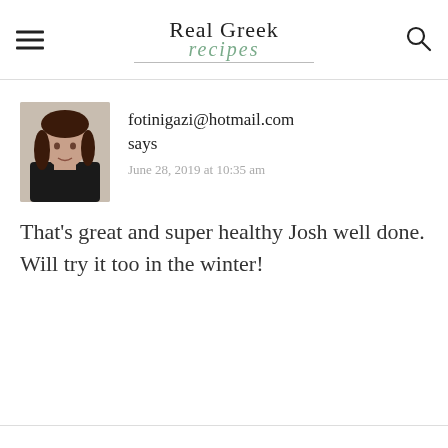Real Greek recipes
fotinigazi@hotmail.com says
June 28, 2019 at 10:35 am
That's great and super healthy Josh well done. Will try it too in the winter!